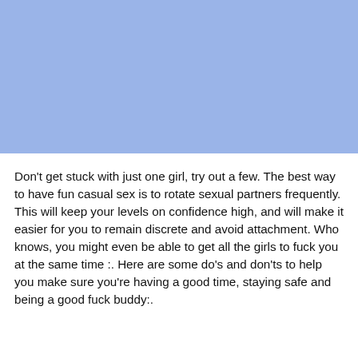[Figure (other): Solid light blue rectangle occupying the top portion of the page]
Don't get stuck with just one girl, try out a few. The best way to have fun casual sex is to rotate sexual partners frequently. This will keep your levels on confidence high, and will make it easier for you to remain discrete and avoid attachment. Who knows, you might even be able to get all the girls to fuck you at the same time :. Here are some do's and don'ts to help you make sure you're having a good time, staying safe and being a good fuck buddy:.